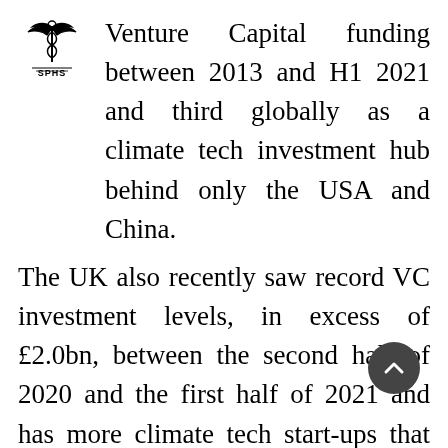[Figure (logo): Organizational or publisher logo — stylized emblem with wings and text 'SPHS']
Venture Capital funding between 2013 and H1 2021 and third globally as a climate tech investment hub behind only the USA and China.
The UK also recently saw record VC investment levels, in excess of £2.0bn, between the second half of 2020 and the first half of 2021 and has more climate tech start-ups that have received funding